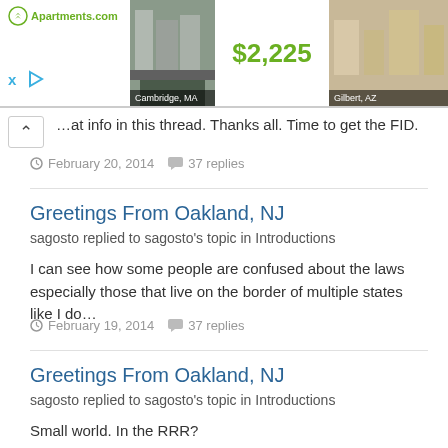[Figure (screenshot): Apartments.com advertisement banner with logo, Cambridge MA and Gilbert AZ property photos, and $2,225 price]
...at info in this thread. Thanks all. Time to get the FID.
February 20, 2014   37 replies
Greetings From Oakland, NJ
sagosto replied to sagosto's topic in Introductions
I can see how some people are confused about the laws especially those that live on the border of multiple states like I do...
February 19, 2014   37 replies
Greetings From Oakland, NJ
sagosto replied to sagosto's topic in Introductions
Small world. In the RRR?
February 19, 2014   37 replies